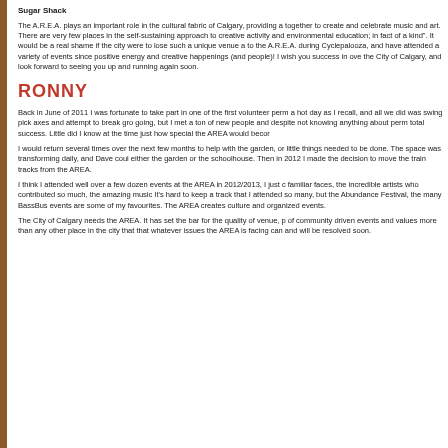Sugar Shack
The A.R.E.A. plays an important role in the cultural fabric of Calgary, providing a together to create and celebrate music and art. There are very few places in the self-sustaining approach to creative activity and environmental education; in fact of a kind". It would be a real shame if the city were to lose such a unique venue a to the A.R.E.A. during Cyclepalooza, and have attended a variety of events since positive energy and creative happenings (and people)! I wish you success in ove the City of Calgary, and look forward to seeing you up and running again soon.
RONNY
Back in June of 2011 I was fortunate to take part in one of the first volunteer perm a hot day as I recall, and all we did was swing pick axes and attempt to break gro going, but I met a ton of new people and despite not knowing anything about perm total success. Little did I know at the time just how special the AREA would becor
I would return several times over the next few months to help with the garden, or little things needed to be done. The space was transforming daily, and Dave coul either the garden or the schoolhouse. Then in 2012 I made the decision to move the train tracks from the AREA.
I think I attended well over a few dozen events at the AREA in 2012/2013, I just c familiar faces, the incredible artists who contributed so much, the amazing music It's hard to keep a track that I attended so many, but the Abundance Festival, the many BassBus events are some of my favourites. The AREA creates culture and organized events.
The City of Calgary needs the AREA. It has set the bar for the quality of venue, p of community driven events and values more than any other place in the city that that whatever issues the AREA is facing can and will be resolved soon.